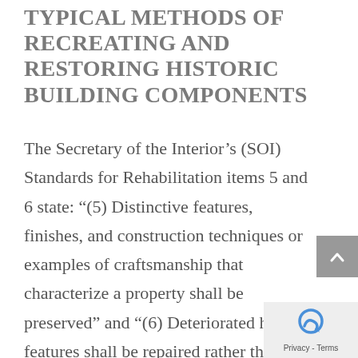TYPICAL METHODS OF RECREATING AND RESTORING HISTORIC BUILDING COMPONENTS
The Secretary of the Interior's (SOI) Standards for Rehabilitation items 5 and 6 state: “(5) Distinctive features, finishes, and construction techniques or examples of craftsmanship that characterize a property shall be preserved” and “(6) Deteriorated historic features shall be repaired rather than replaced. Where the severity of deterioration requires replacement